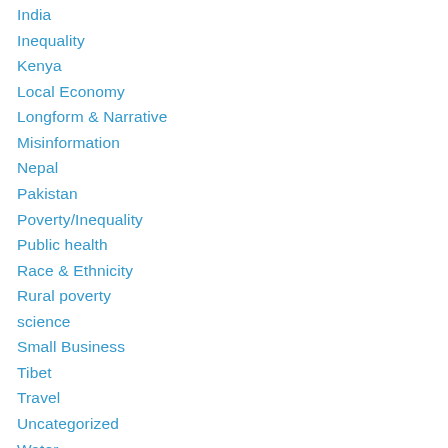India
Inequality
Kenya
Local Economy
Longform & Narrative
Misinformation
Nepal
Pakistan
Poverty/Inequality
Public health
Race & Ethnicity
Rural poverty
science
Small Business
Tibet
Travel
Uncategorized
Water
Women & Children